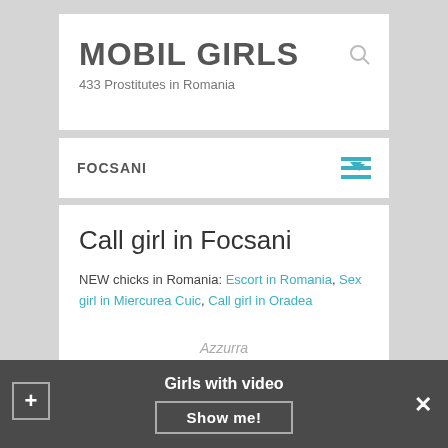MOBIL GIRLS
433 Prostitutes in Romania
FOCSANI
Call girl in Focsani
NEW chicks in Romania: Escort in Romania, Sex girl in Miercurea Cuic, Call girl in Oradea
Petite Sluts Focsani
Azzurra
Girls with video
Show me!